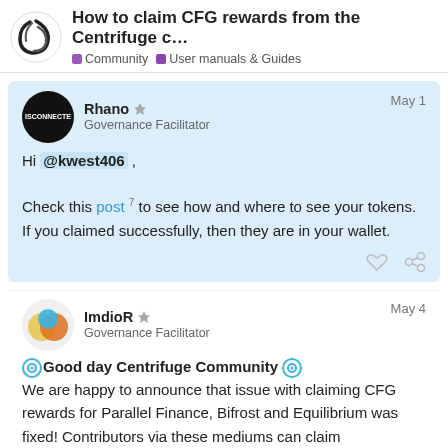How to claim CFG rewards from the Centrifuge c... | Community | User manuals & Guides
Rhano - Governance Facilitator - May 1
Hi @kwest406 ,

Check this post 7 to see how and where to see your tokens. If you claimed successfully, then they are in your wallet.
ImdioR - Governance Facilitator - May 4
Good day Centrifuge Community
We are happy to announce that issue with claiming CFG rewards for Parallel Finance, Bifrost and Equilibrium was fixed! Contributors via these mediums can claim

Claiming page: Centrifuge Parachain Cro...
125 / 189